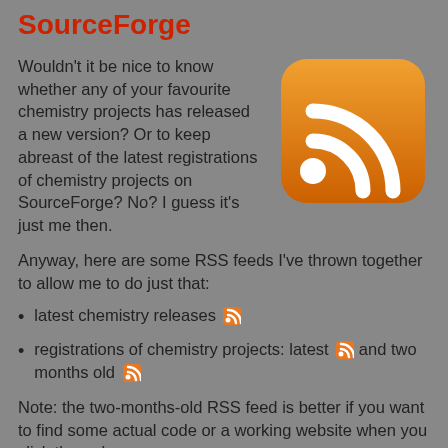SourceForge
Wouldn't it be nice to know whether any of your favourite chemistry projects has released a new version? Or to keep abreast of the latest registrations of chemistry projects on SourceForge? No? I guess it's just me then.
[Figure (logo): Orange RSS feed icon with white signal waves and dot on rounded square background]
Anyway, here are some RSS feeds I've thrown together to allow me to do just that:
latest chemistry releases [RSS icon]
registrations of chemistry projects: latest [RSS icon] and two months old [RSS icon]
Note: the two-months-old RSS feed is better if you want to find some actual code or a working website when you click through.